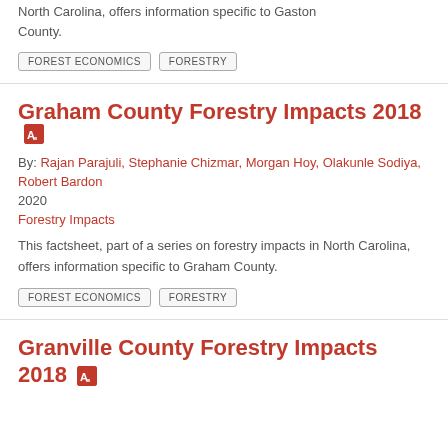North Carolina, offers information specific to Gaston County.
FOREST ECONOMICS
FORESTRY
Graham County Forestry Impacts 2018
By: Rajan Parajuli, Stephanie Chizmar, Morgan Hoy, Olakunle Sodiya, Robert Bardon
2020
Forestry Impacts
This factsheet, part of a series on forestry impacts in North Carolina, offers information specific to Graham County.
FOREST ECONOMICS
FORESTRY
Granville County Forestry Impacts 2018